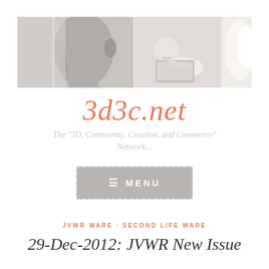[Figure (photo): Banner image with three panels: left panel shows a gray 3D face profile looking right, middle panel shows a person leaning close to a laptop screen, right panel shows a partial white figure/wing shape on right edge]
3d3c.net
The "3D, Community, Creation, and Commerce" Network...
[Figure (other): Gray navigation menu button with dashed border showing hamburger icon and text MENU]
JVWR WARE · SECOND LIFE WARE
29-Dec-2012: JVWR New Issue